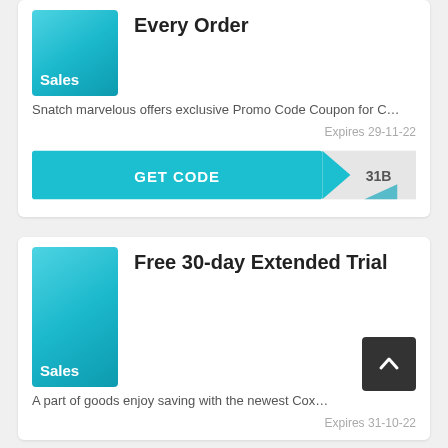[Figure (illustration): Teal sales badge square icon with 'Sales' label]
Every Order
Snatch marvelous offers exclusive Promo Code Coupon for C…
Expires 29-11-22
[Figure (illustration): GET CODE button with teal background and arrow ribbon revealing code '31B']
[Figure (illustration): Teal sales badge square icon with 'Sales' label]
Free 30-day Extended Trial
A part of goods enjoy saving with the newest Cox…
Expires 31-10-22